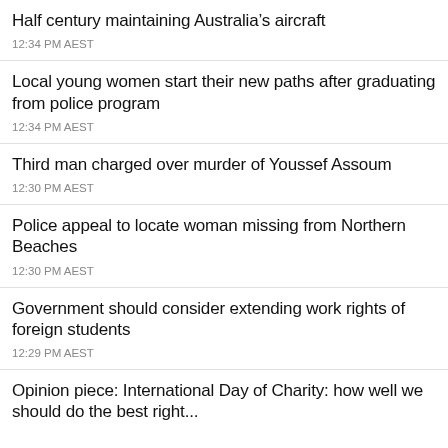Half century maintaining Australia’s aircraft
12:34 PM AEST
Local young women start their new paths after graduating from police program
12:34 PM AEST
Third man charged over murder of Youssef Assoum
12:30 PM AEST
Police appeal to locate woman missing from Northern Beaches
12:30 PM AEST
Government should consider extending work rights of foreign students
12:29 PM AEST
Opinion piece: International Day of Charity: how well we should do the best right...